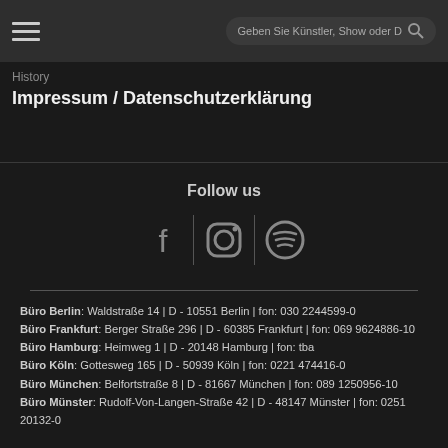History
Impressum / Datenschutzerklärung
Follow us
[Figure (illustration): Three social media icons: Facebook (f), Instagram (camera), Spotify (circle with lines), separated by vertical dividers]
Büro Berlin: Waldstraße 14 | D - 10551 Berlin | fon: 030 2244599-0
Büro Frankfurt: Berger Straße 296 | D - 60385 Frankfurt | fon: 069 9624886-10
Büro Hamburg: Heimweg 1 | D - 20148 Hamburg | fon: tba
Büro Köln: Gottesweg 165 | D - 50939 Köln | fon: 0221 474416-0
Büro München: Belfortstraße 8 | D - 81667 München | fon: 089 1250956-10
Büro Münster: Rudolf-Von-Langen-Straße 42 | D - 48147 Münster | fon: 0251 20132-0